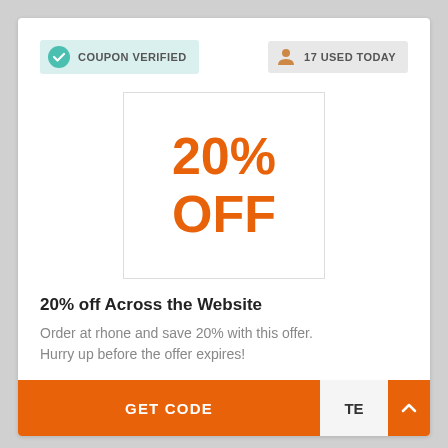COUPON VERIFIED
17 USED TODAY
[Figure (other): Large orange text reading '20% OFF' displayed in a bordered box]
20% off Across the Website
Order at rhone and save 20% with this offer. Hurry up before the offer expires!
GET CODE | TE